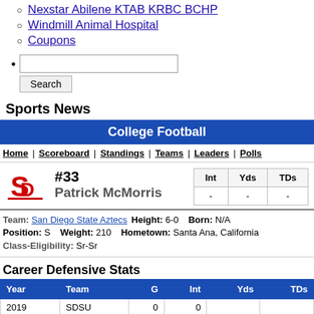Nexstar Abilene KTAB KRBC BCHP
Windmill Animal Hospital
Coupons
Search (input + button)
Sports News
College Football
Home | Scoreboard | Standings | Teams | Leaders | Polls
#33 Patrick McMorris
| Int | Yds | TDs |
| --- | --- | --- |
| - | - | - |
Team: San Diego State Aztecs   Height: 6-0   Born: N/A   Position: S   Weight: 210   Hometown: Santa Ana, California   Class-Eligibility: Sr-Sr
Career Defensive Stats
| Year | Team | G | Int | Yds | TDs |
| --- | --- | --- | --- | --- | --- |
| 2019 | SDSU | 0 | 0 |  |  |